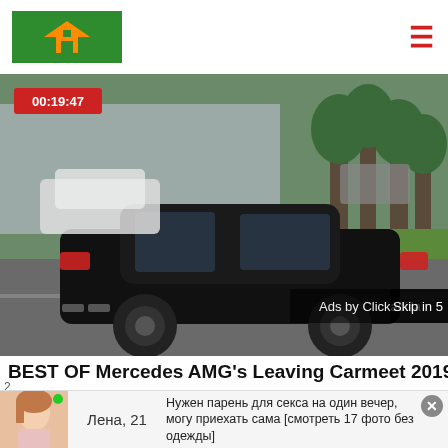[Figure (logo): Green rectangle logo with orange house icon]
[Figure (screenshot): Video player showing black Mercedes AMG car on road with timestamp 00:19:47, ad overlay showing 'Ads by Clickadilla' and 'Skip in 5']
BEST OF Mercedes AMG's Leaving Carmeet 2019 -
[Figure (photo): Advertisement banner with young woman avatar, name 'Лена, 21', and Russian text solicitation message]